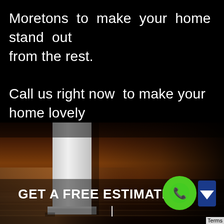Moretons to make your home stand out from the rest.

Call us right now to make your home lovely today.
[Figure (photo): Close-up photo of a hardwood floor with a white door frame/baseboard visible, dark room in background]
GET A FREE ESTIMATE
|
Terms